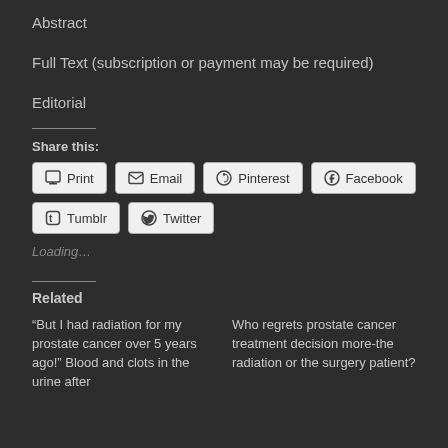Abstract
Full Text (subscription or payment may be required)
Editorial
Share this:
Print
Email
Pinterest
Facebook
Tumblr
Twitter
Loading...
Related
“But I had radiation for my prostate cancer over 5 years ago!” Blood and clots in the urine after
Who regrets prostate cancer treatment decision more-the radiation or the surgery patient?